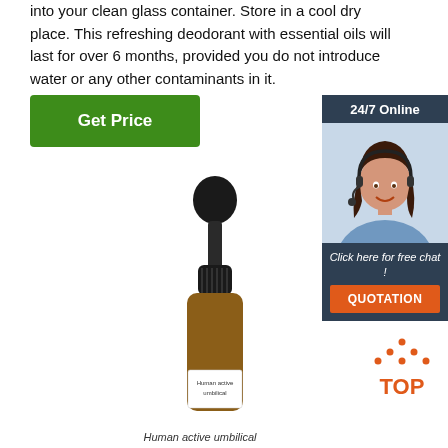into your clean glass container. Store in a cool dry place. This refreshing deodorant with essential oils will last for over 6 months, provided you do not introduce water or any other contaminants in it.
[Figure (other): Green 'Get Price' button]
[Figure (other): 24/7 Online chat widget sidebar with woman wearing headset, 'Click here for free chat!' text, and orange QUOTATION button]
[Figure (photo): Amber glass dropper bottle with black dropper cap, label reads 'Human active umbilical']
[Figure (other): Orange 'TOP' button with dotted triangle arrow]
Human active umbilical